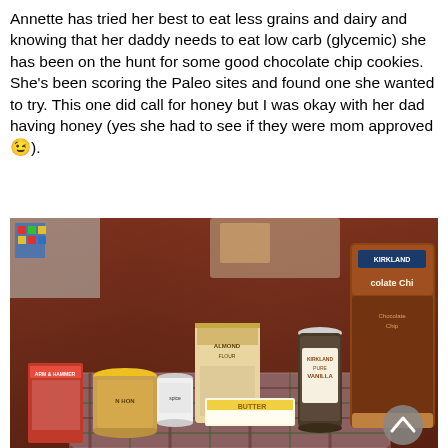Annette has tried her best to eat less grains and dairy and knowing that her daddy needs to eat low carb (glycemic) she has been on the hunt for some good chocolate chip cookies. She's been scoring the Paleo sites and found one she wanted to try. This one did call for honey but I was okay with her dad having honey (yes she had to see if they were mom approved 😉).
[Figure (photo): A photo of baking ingredients laid out on a wooden table with a plaid cloth, including a jar of peanut butter, a bottle of vanilla extract, a stick of butter, a bag of Kirkland chocolate chips, a container of spice, a bag of almond flour, and other items.]